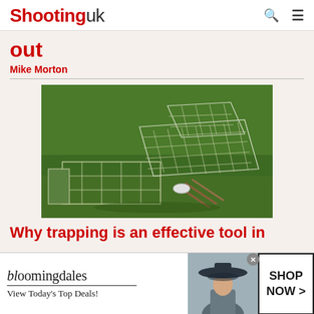Shooting uk
out
Mike Morton
[Figure (photo): Wire cage trap (larsen or similar multi-catch trap) laid on green grass outdoors, showing metal wire mesh construction with wooden dowels/sticks visible inside the trap mechanism.]
Why trapping is an effective tool in
[Figure (infographic): Bloomingdales advertisement banner showing logo, 'View Today's Top Deals!' tagline, a woman in a wide-brim hat, and 'SHOP NOW >' call to action button.]